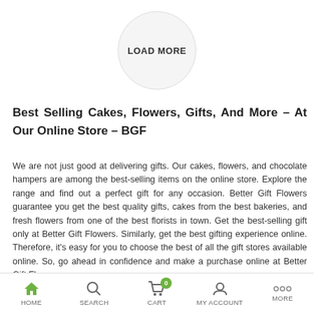[Figure (other): LOAD MORE circular button]
Best Selling Cakes, Flowers, Gifts, And More – At Our Online Store – BGF
We are not just good at delivering gifts. Our cakes, flowers, and chocolate hampers are among the best-selling items on the online store. Explore the range and find out a perfect gift for any occasion. Better Gift Flowers guarantee you get the best quality gifts, cakes from the best bakeries, and fresh flowers from one of the best florists in town. Get the best-selling gift only at Better Gift Flowers. Similarly, get the best gifting experience online. Therefore, it's easy for you to choose the best of all the gift stores available online. So, go ahead in confidence and make a purchase online at Better Gift Flowers.
Have A Happy Gifting!
HOME  SEARCH  CART  MY ACCOUNT  MORE